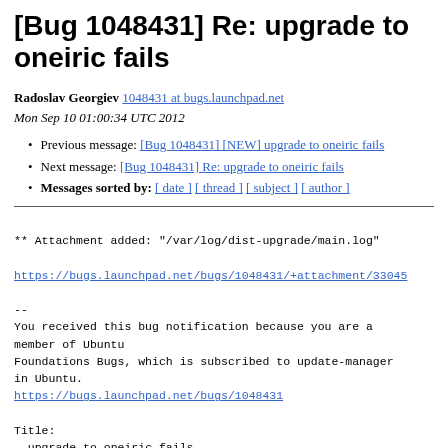[Bug 1048431] Re: upgrade to oneiric fails
Radoslav Georgiev 1048431 at bugs.launchpad.net
Mon Sep 10 01:00:34 UTC 2012
Previous message: [Bug 1048431] [NEW] upgrade to oneiric fails
Next message: [Bug 1048431] Re: upgrade to oneiric fails
Messages sorted by: [ date ] [ thread ] [ subject ] [ author ]
** Attachment added: "/var/log/dist-upgrade/main.log"

https://bugs.launchpad.net/bugs/1048431/+attachment/33045

--
You received this bug notification because you are a member of Ubuntu
Foundations Bugs, which is subscribed to update-manager in Ubuntu.
https://bugs.launchpad.net/bugs/1048431

Title:
  upgrade to oneiric fails